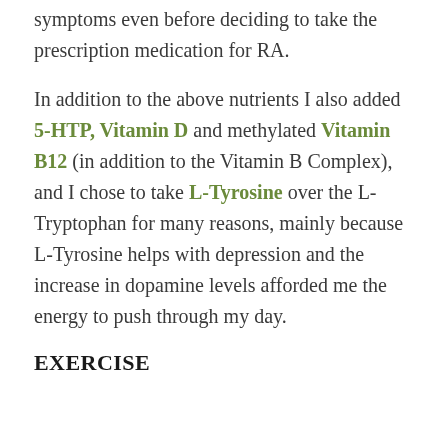symptoms even before deciding to take the prescription medication for RA.
In addition to the above nutrients I also added 5-HTP, Vitamin D and methylated Vitamin B12 (in addition to the Vitamin B Complex), and I chose to take L-Tyrosine over the L-Tryptophan for many reasons, mainly because L-Tyrosine helps with depression and the increase in dopamine levels afforded me the energy to push through my day.
EXERCISE